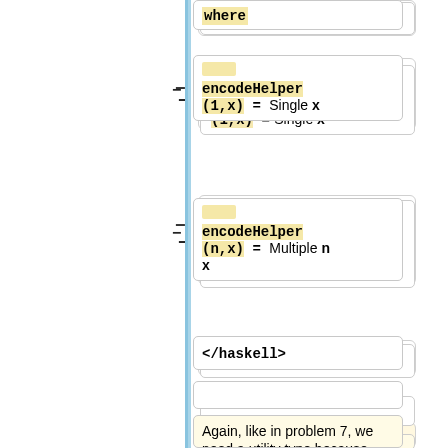where
encodeHelper (1,x) = Single x
encodeHelper (n,x) = Multiple n x
</haskell>
</haskell>
Again, like in problem 7, we need a utility type because lists in haskell are homogeneous. Afterwards we use the <hask>encode<
[[99 questions/Solutions/11 | Solutions]]